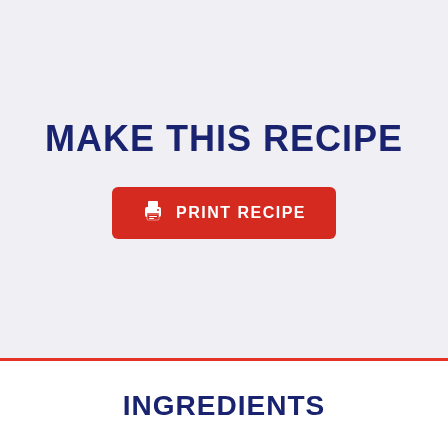MAKE THIS RECIPE
[Figure (other): Red button with printer icon and text PRINT RECIPE]
INGREDIENTS